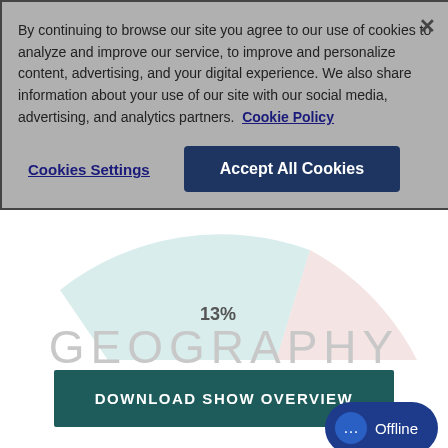By continuing to browse our site you agree to our use of cookies to analyze and improve our service, to improve and personalize content, advertising, and your digital experience. We also share information about your use of our site with our social media, advertising, and analytics partners. Cookie Policy
Cookies Settings
Accept All Cookies
[Figure (pie-chart): Partial view of a pie chart partially obscured by cookie consent banner, showing light teal and light pink segments with a label '13%' visible]
GEOGRAPHY
DOWNLOAD SHOW OVERVIEW
Offline